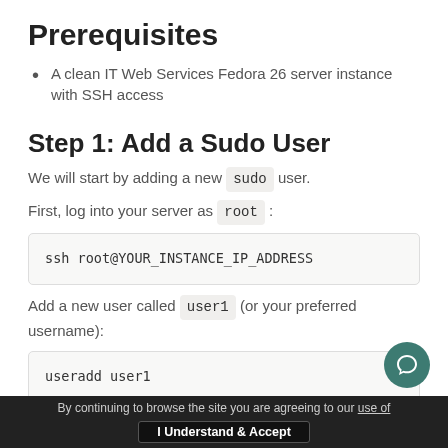Prerequisites
A clean IT Web Services Fedora 26 server instance with SSH access
Step 1: Add a Sudo User
We will start by adding a new sudo user.
First, log into your server as root :
ssh root@YOUR_INSTANCE_IP_ADDRESS
Add a new user called user1 (or your preferred username):
useradd user1
By continuing to browse the site you are agreeing to our use of [cookies]. I Understand & Accept